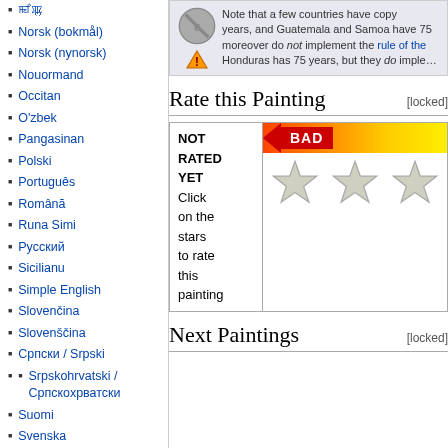ꯃꯤꯄꯨ
Norsk (bokmål)
Norsk (nynorsk)
Nouormand
Occitan
O'zbek
Pangasinan
Polski
Português
Română
Runa Simi
Русский
Sicilianu
Simple English
Slovenčina
Slovenščina
Српски / Srpski
Srpskohrvatski / Српскохрватски
Suomi
Svenska
Tagalog
తెలుగు
ไทย
Tiếng Việt
Note that a few countries have copy years, and Guatemala and Samoa have 75 years, moreover do not implement the rule of the Honduras has 75 years, but they do imple…
Rate this Painting [locked]
| NOT RATED YET
Click on the stars to rate this painting | [rating bar and stars] |
Next Paintings [locked]